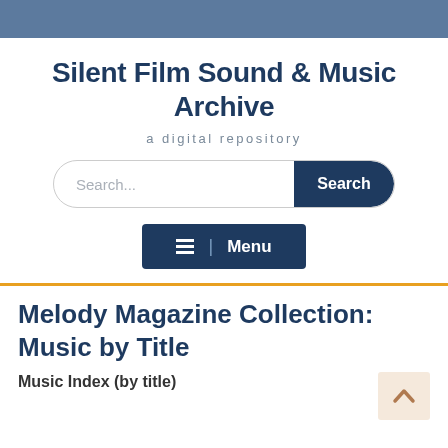Silent Film Sound & Music Archive
a digital repository
[Figure (screenshot): Search bar with placeholder text 'Search...' and a dark blue 'Search' button on the right]
[Figure (screenshot): Dark blue menu button with hamburger icon and 'Menu' label]
Melody Magazine Collection: Music by Title
Music Index (by title)